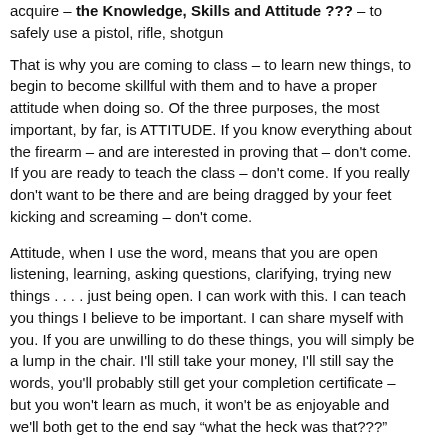acquire – the Knowledge, Skills and Attitude ??? – to safely use a pistol, rifle, shotgun
That is why you are coming to class – to learn new things, to begin to become skillful with them and to have a proper attitude when doing so. Of the three purposes, the most important, by far, is ATTITUDE. If you know everything about the firearm – and are interested in proving that – don't come. If you are ready to teach the class – don't come. If you really don't want to be there and are being dragged by your feet kicking and screaming – don't come.
Attitude, when I use the word, means that you are open listening, learning, asking questions, clarifying, trying new things . . . . just being open. I can work with this. I can teach you things I believe to be important. I can share myself with you. If you are unwilling to do these things, you will simply be a lump in the chair. I'll still take your money, I'll still say the words, you'll probably still get your completion certificate – but you won't learn as much, it won't be as enjoyable and we'll both get to the end say “what the heck was that???”
Bring a friendly, open and curious Attitude, I'll do the rest.